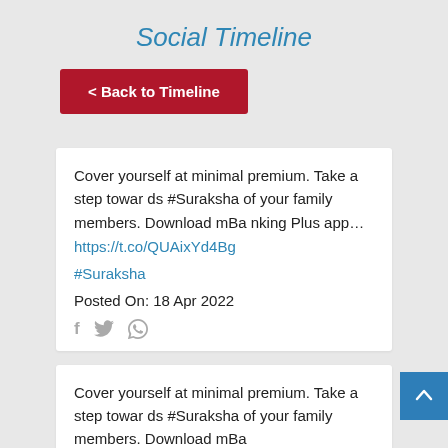Social Timeline
< Back to Timeline
Cover yourself at minimal premium. Take a step towards #Suraksha of your family members. Download mBanking Plus app…
https://t.co/QUAixYd4Bg

#Suraksha

Posted On: 18 Apr 2022
Cover yourself at minimal premium. Take a step towards #Suraksha of your family members. Download mBa